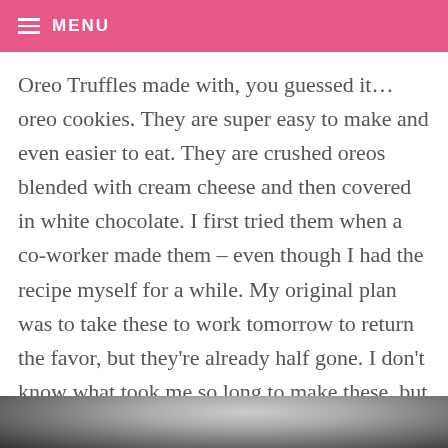MENU
Oreo Truffles made with, you guessed it… oreo cookies. They are super easy to make and even easier to eat. They are crushed oreos blended with cream cheese and then covered in white chocolate. I first tried them when a co-worker made them – even though I had the recipe myself for a while. My original plan was to take these to work tomorrow to return the favor, but they're already half gone. I don't know what took me so long to make these, but I'm glad I finally did. I'll put these right up there with my red velvet cake balls.
[Figure (photo): Bottom strip showing a dark/grey photo of Oreo truffles, partially visible at the bottom of the page.]